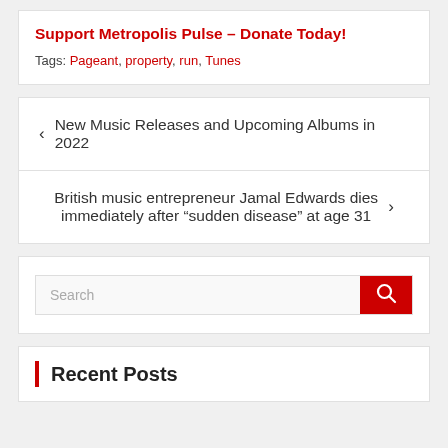Support Metropolis Pulse – Donate Today!
Tags: Pageant, property, run, Tunes
< New Music Releases and Upcoming Albums in 2022
British music entrepreneur Jamal Edwards dies immediately after “sudden disease” at age 31 >
Search
Recent Posts